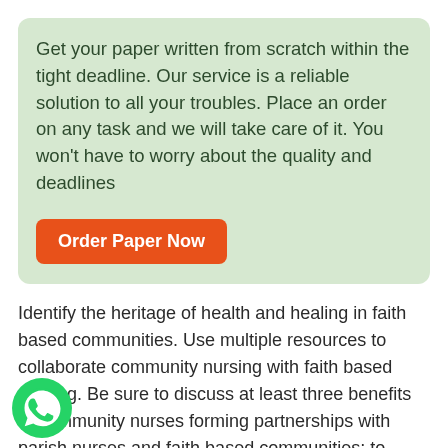Get your paper written from scratch within the tight deadline. Our service is a reliable solution to all your troubles. Place an order on any task and we will take care of it. You won't have to worry about the quality and deadlines
Order Paper Now
Identify the heritage of health and healing in faith based communities. Use multiple resources to collaborate community nursing with faith based nursing. Be sure to discuss at least three benefits of community nurses forming partnerships with parish nurses and faith based communities; to discuss a nurse's role as parish nurse in faith communities for health promotion and disease prevention; to analyze how communities of faith may include Healthy People 2020 guidelines in program planning; and to consider legal, ethical, or financial issues related to parish nursing. Submit your answers in a 4- to 5-
[Figure (logo): WhatsApp green circle icon with phone handset]